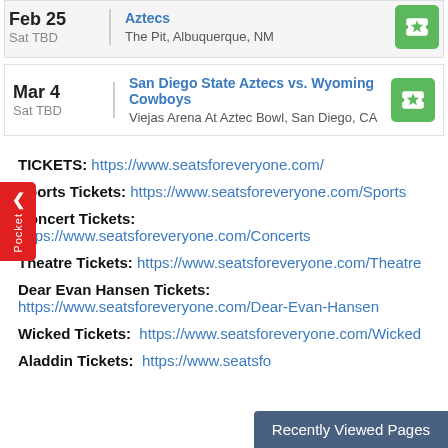| Feb 25 | Sat TBD | San Diego State Aztecs vs. [something] Aztecs | The Pit, Albuquerque, NM |
| Mar 4 | Sat TBD | San Diego State Aztecs vs. Wyoming Cowboys | Viejas Arena At Aztec Bowl, San Diego, CA |
TICKETS: https://www.seatsforeveryone.com/
Sports Tickets: https://www.seatsforeveryone.com/Sports
Concert Tickets: https://www.seatsforeveryone.com/Concerts
Theatre Tickets: https://www.seatsforeveryone.com/Theatre
Dear Evan Hansen Tickets: https://www.seatsforeveryone.com/Dear-Evan-Hansen
Wicked Tickets: https://www.seatsforeveryone.com/Wicked
Aladdin Tickets: https://www.seatsfo...